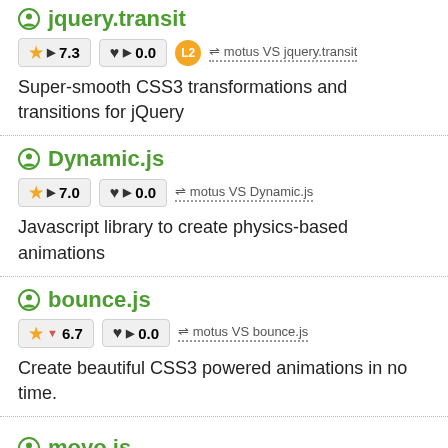jquery.transit
★ ▶ 7.3   ♥ ▶ 0.0   L2   ⇌ motus VS jquery.transit
Super-smooth CSS3 transformations and transitions for jQuery
Dynamic.js
★ ▶ 7.0   ♥ ▶ 0.0   ⇌ motus VS Dynamic.js
Javascript library to create physics-based animations
bounce.js
★ ▼ 6.7   ♥ ▶ 0.0   ⇌ motus VS bounce.js
Create beautiful CSS3 powered animations in no time.
moyo.js